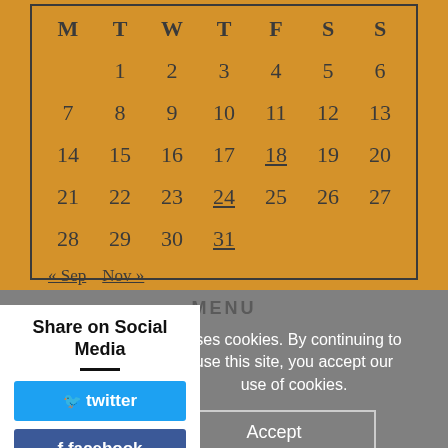| M | T | W | T | F | S | S |
| --- | --- | --- | --- | --- | --- | --- |
|  | 1 | 2 | 3 | 4 | 5 | 6 |
| 7 | 8 | 9 | 10 | 11 | 12 | 13 |
| 14 | 15 | 16 | 17 | 18 | 19 | 20 |
| 21 | 22 | 23 | 24 | 25 | 26 | 27 |
| 28 | 29 | 30 | 31 |  |  |  |
« Sep   Nov »
MENU
uses cookies. By continuing to use this site, you accept our use of cookies.
Accept
Share on Social Media
twitter
facebook